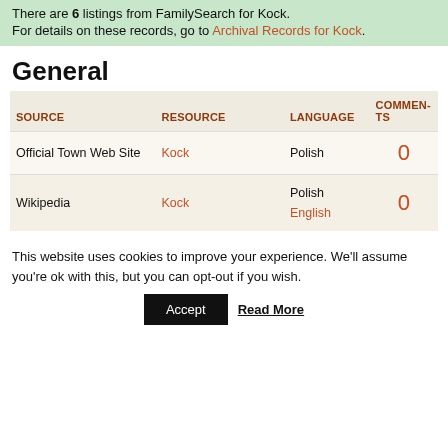There are 6 listings from FamilySearch for Kock.
For details on these records, go to Archival Records for Kock.
General
| SOURCE | RESOURCE | LANGUAGE | COMMENTS |
| --- | --- | --- | --- |
| Official Town Web Site | Kock | Polish | 0 |
| Wikipedia | Kock | Polish
English | 0 |
This website uses cookies to improve your experience. We'll assume you're ok with this, but you can opt-out if you wish.
Accept   Read More